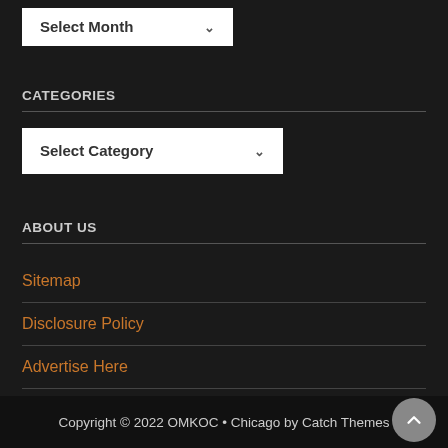[Figure (screenshot): Select Month dropdown widget, white box with arrow]
CATEGORIES
[Figure (screenshot): Select Category dropdown widget, white box with arrow]
ABOUT US
Sitemap
Disclosure Policy
Advertise Here
Contact Us
Copyright © 2022 OMKOC • Chicago by Catch Themes